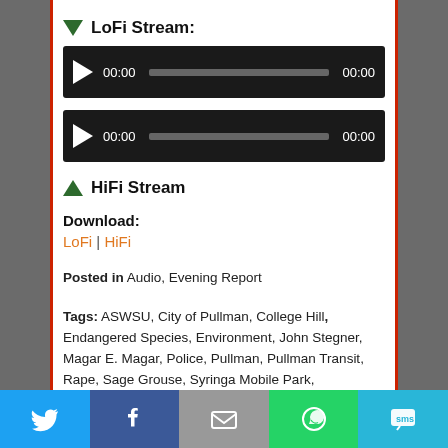▼ LoFi Stream:
[Figure (other): Audio player bar 1 with play button, 00:00 time display, progress bar, and 00:00 end time on dark background]
[Figure (other): Audio player bar 2 with play button, 00:00 time display, progress bar, and 00:00 end time on dark background]
▲ HiFi Stream
Download: LoFi | HiFi
Posted in Audio, Evening Report
Tags: ASWSU, City of Pullman, College Hill, Endangered Species, Environment, John Stegner, Magar E. Magar, Police, Pullman, Pullman Transit, Rape, Sage Grouse, Syringa Mobile Park, Transportation, WSU